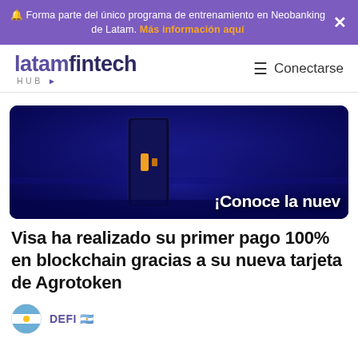🔔 Forma parte del único programa de entrenamiento en Neobanking de Latam. Más información aquí
[Figure (logo): latamfintech HUB logo with navigation hamburger menu and Conectarse link]
[Figure (illustration): Dark blue banner image with a door/card device and text overlay reading '¡Conoce la nuev']
Visa ha realizado su primer pago 100% en blockchain gracias a su nueva tarjeta de Agrotoken
DEFI 🇦🇷